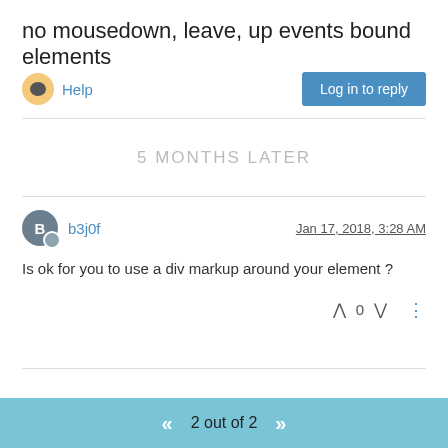no mousedown, leave, up events bound elements
Help
Log in to reply
5 MONTHS LATER
b3j0f
Jan 17, 2018, 3:28 AM
Is ok for you to use a div markup around your element ?
0
2 out of 2